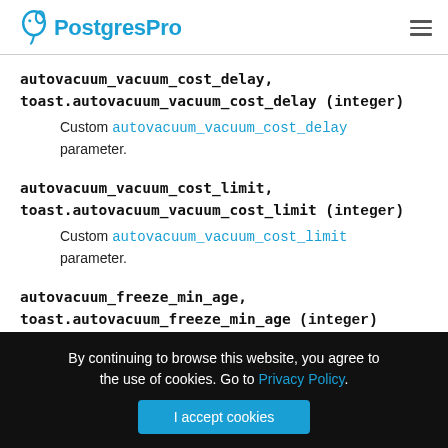PostgresPro
autovacuum_vacuum_cost_delay,
toast.autovacuum_vacuum_cost_delay (integer)
Custom autovacuum_vacuum_cost_delay parameter.
autovacuum_vacuum_cost_limit,
toast.autovacuum_vacuum_cost_limit (integer)
Custom autovacuum_vacuum_cost_limit parameter.
autovacuum_freeze_min_age,
toast.autovacuum_freeze_min_age (integer)
By continuing to browse this website, you agree to the use of cookies. Go to Privacy Policy.